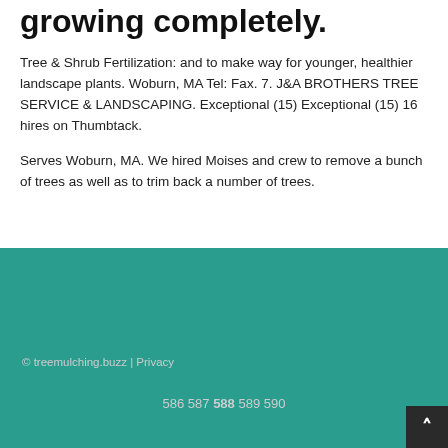growing completely.
Tree & Shrub Fertilization: and to make way for younger, healthier landscape plants. Woburn, MA Tel: Fax. 7. J&A BROTHERS TREE SERVICE & LANDSCAPING. Exceptional (15) Exceptional (15) 16 hires on Thumbtack.
Serves Woburn, MA. We hired Moises and crew to remove a bunch of trees as well as to trim back a number of trees.
© treemulching.buzz | Privacy
586 587 588 589 590